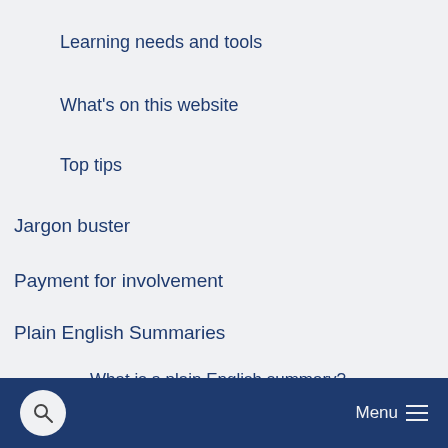Learning needs and tools
What's on this website
Top tips
Jargon buster
Payment for involvement
Plain English Summaries
What is a plain English summary?
Members of the advisory group reviewing plain English summaries
Menu